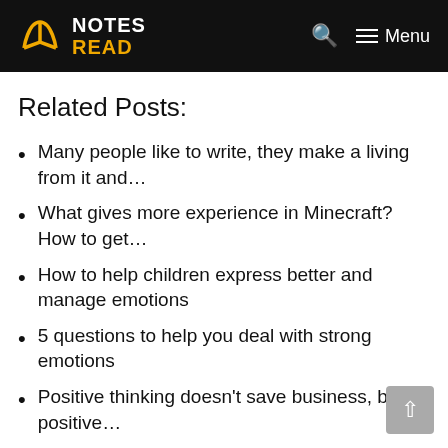NOTES READ
Related Posts:
Many people like to write, they make a living from it and…
What gives more experience in Minecraft? How to get…
How to help children express better and manage emotions
5 questions to help you deal with strong emotions
Positive thinking doesn't save business, but positive…
What Is UX Design(User